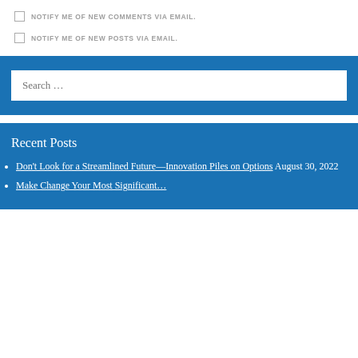NOTIFY ME OF NEW COMMENTS VIA EMAIL.
NOTIFY ME OF NEW POSTS VIA EMAIL.
Search …
Recent Posts
Don't Look for a Streamlined Future—Innovation Piles on Options August 30, 2022
Make Change Your Most Significant…